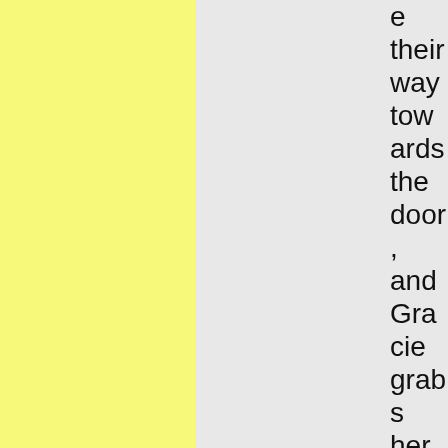e their way towards the door, and Gracie grabs her phone to start texting as